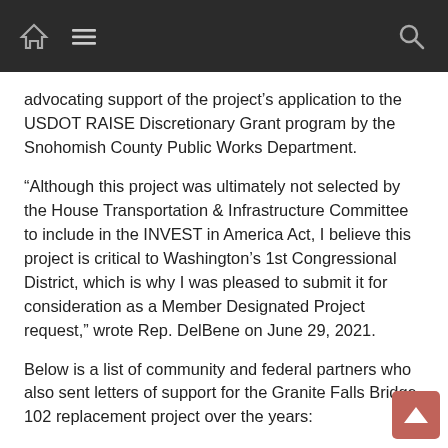Navigation bar with home, menu, and search icons
advocating support of the project’s application to the USDOT RAISE Discretionary Grant program by the Snohomish County Public Works Department.
“Although this project was ultimately not selected by the House Transportation & Infrastructure Committee to include in the INVEST in America Act, I believe this project is critical to Washington’s 1st Congressional District, which is why I was pleased to submit it for consideration as a Member Designated Project request,” wrote Rep. DelBene on June 29, 2021.
Below is a list of community and federal partners who also sent letters of support for the Granite Falls Bridge 102 replacement project over the years: